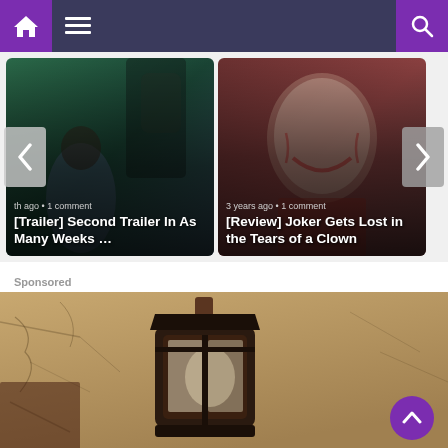Navigation bar with home, menu, and search icons
[Figure (screenshot): Card 1: [Trailer] Second Trailer In As Many Weeks ... - horror movie image with characters, timestamp: few months ago • 1 comment]
[Figure (screenshot): Card 2: [Review] Joker Gets Lost in the Tears of a Clown - Joker movie image with Joaquin Phoenix in Joker makeup, timestamp: 3 years ago • 1 comment]
Sponsored
[Figure (photo): Sponsored image - close-up of a dark metal lantern mounted on a cracked beige plaster wall]